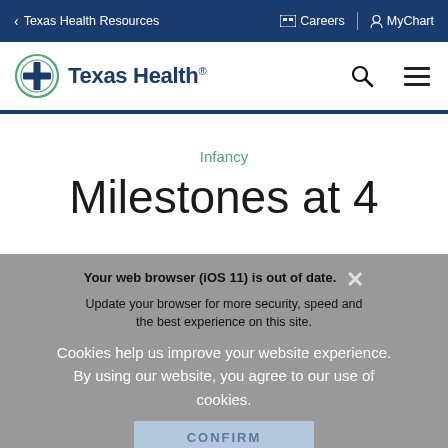< Texas Health Resources   Careers | MyChart
[Figure (logo): Texas Health logo with circular cross emblem and 'Texas Health' text in blue]
Infancy
Milestones at 4
Your web browser (iOS 11) is out of date. Update your browser for more security, speed and the best experience on this site.
Cookies help us improve your website experience. By using our website, you agree to our use of cookies.
CONFIRM
IGNORE